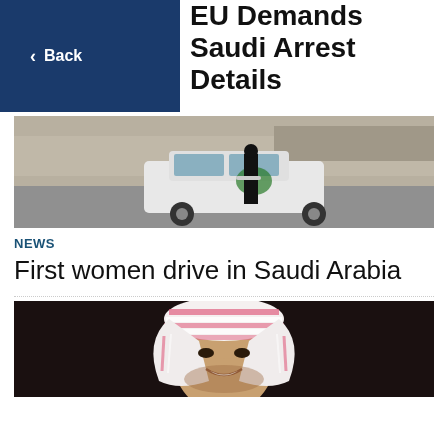EU Demands Saudi Arrest Details
< Back
[Figure (photo): A woman in black abaya standing next to a white car with a green Saudi emblem, outdoors on a road]
NEWS
First women drive in Saudi Arabia
[Figure (photo): A smiling man wearing a pink and white traditional Saudi headdress against a dark background]